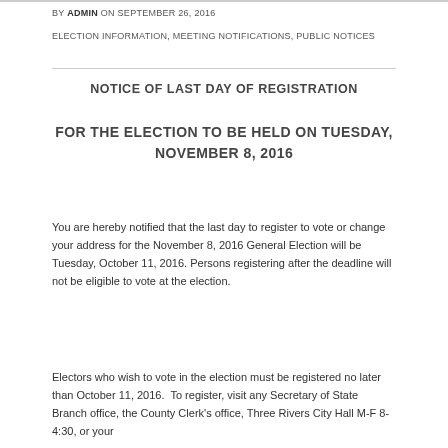BY ADMIN ON SEPTEMBER 26, 2016
ELECTION INFORMATION, MEETING NOTIFICATIONS, PUBLIC NOTICES
NOTICE OF LAST DAY OF REGISTRATION
FOR THE ELECTION TO BE HELD ON TUESDAY, NOVEMBER 8, 2016
You are hereby notified that the last day to register to vote or change your address for the November 8, 2016 General Election will be Tuesday, October 11, 2016. Persons registering after the deadline will not be eligible to vote at the election.
Electors who wish to vote in the election must be registered no later than October 11, 2016.  To register, visit any Secretary of State Branch office, the County Clerk's office, Three Rivers City Hall M-F 8-4:30, or your